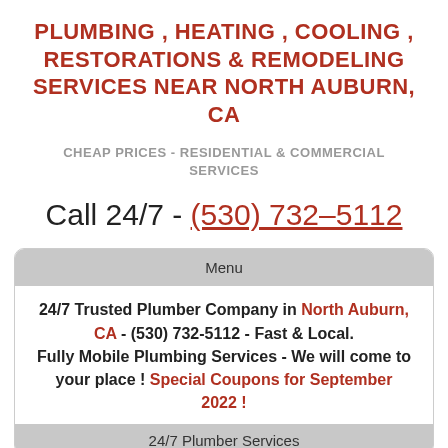PLUMBING , HEATING , COOLING , RESTORATIONS & REMODELING SERVICES NEAR NORTH AUBURN, CA
CHEAP PRICES - RESIDENTIAL & COMMERCIAL SERVICES
Call 24/7 - (530) 732-5112
Menu
24/7 Trusted Plumber Company in North Auburn, CA - (530) 732-5112 - Fast & Local. Fully Mobile Plumbing Services - We will come to your place ! Special Coupons for September 2022 !
24/7 Plumber Services